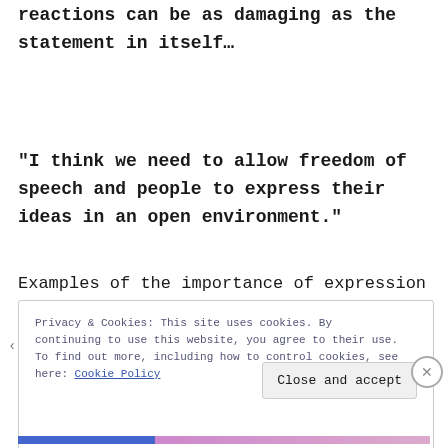reactions can be as damaging as the statement in itself…
“I think we need to allow freedom of speech and people to express their ideas in an open environment.”
Examples of the importance of expression
Privacy & Cookies: This site uses cookies. By continuing to use this website, you agree to their use. To find out more, including how to control cookies, see here: Cookie Policy
Close and accept